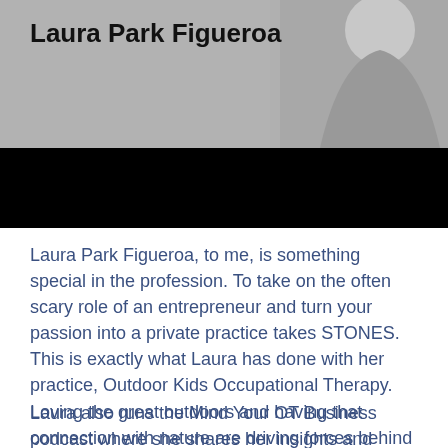[Figure (photo): Black and white photo of Laura Park Figueroa with name overlay text]
Laura Park Figueroa
Laura Park Figueroa, to me, is something special in the profession. To take on the often scary role of an entrepreneur and turn your passion into a private practice takes STONES. This is exactly what Laura has done with her practice, Outdoor Kids Occupational Therapy. Loving the great outdoors and having that connection with nature are driving forces behind the business.
Laura also runs the Mind Your OT Business podcast where she shares her insights and thoughts about